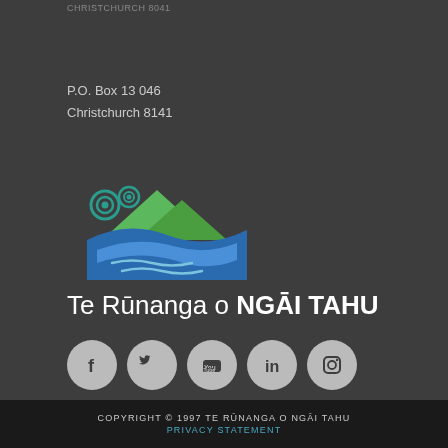CHRISTCHURCH 8041
P.O. Box 13 046
Christchurch 8141
[Figure (logo): Te Rūnanga o Ngāi Tahu logo — stylised mountains with blue water and spiral motifs in teal, green and blue]
Te Rūnanga o NGĀI TAHU
[Figure (infographic): Row of five social media icons: Facebook, Twitter, YouTube, LinkedIn, Instagram — grey circles]
COPYRIGHT © 1997 TE RŪNANGA O NGĀI TAHU
PRIVACY STATEMENT